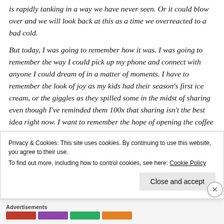is rapidly tanking in a way we have never seen. Or it could blow over and we will look back at this as a time we overreacted to a bad cold.
But today, I was going to remember how it was. I was going to remember the way I could pick up my phone and connect with anyone I could dream of in a matter of moments. I have to remember the look of joy as my kids had their season's first ice cream, or the giggles as they spilled some in the midst of sharing even though I've reminded them 100x that sharing isn't the best idea right now. I want to remember the hope of opening the coffee shop and wanting to make a
Privacy & Cookies: This site uses cookies. By continuing to use this website, you agree to their use. To find out more, including how to control cookies, see here: Cookie Policy
Close and accept
Advertisements